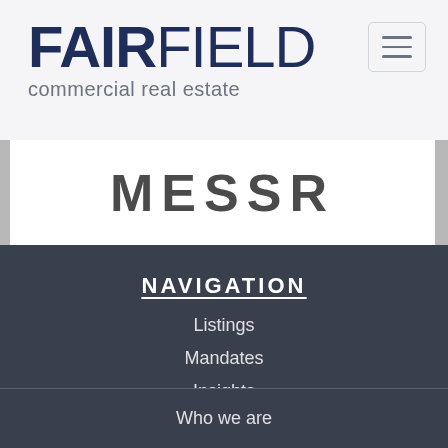[Figure (logo): Fairfield Commercial Real Estate logo with bold FAIRFIELD text and subtitle 'commercial real estate']
[Figure (screenshot): Partial image strip showing cropped text/image, appears to be a property or banner image partially visible]
NAVIGATION
Listings
Mandates
Insights
Who we are